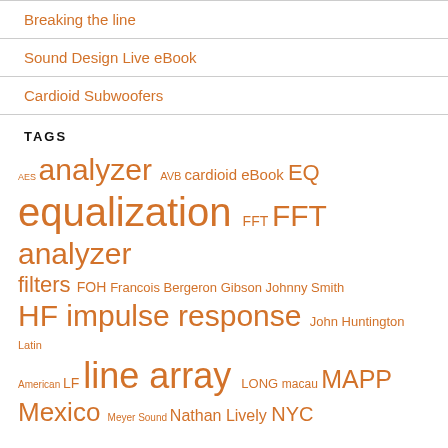Breaking the line
Sound Design Live eBook
Cardioid Subwoofers
TAGS
AES analyzer AVB cardioid eBook EQ equalization FFT FFT analyzer filters FOH Francois Bergeron Gibson Johnny Smith HF impulse response John Huntington Latin American LF line array LONG macau MAPP Mexico Meyer Sound Nathan Lively NYC